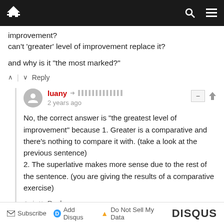Navigation bar with home, search, and menu icons
improvement?
can't 'greater' level of improvement replace it?
and why is it "the most marked?"
Reply
luany • 2 years ago
No, the correct answer is "the greatest level of improvement" because 1. Greater is a comparative and there's nothing to compare it with. (take a look at the previous sentence)
2. The superlative makes more sense due to the rest of the sentence. (you are giving the results of a comparative exercise)
Reply
Subscribe  Add Disqus  Do Not Sell My Data  DISQUS